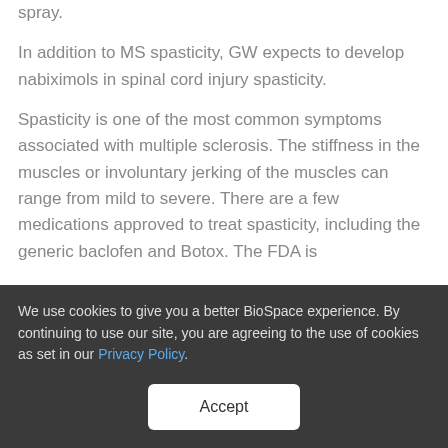spray.
In addition to MS spasticity, GW expects to develop nabiximols in spinal cord injury spasticity.
Spasticity is one of the most common symptoms associated with multiple sclerosis. The stiffness in the muscles or involuntary jerking of the muscles can range from mild to severe. There are a few medications approved to treat spasticity, including the generic baclofen and Botox. The FDA is
We use cookies to give you a better BioSpace experience. By continuing to use our site, you are agreeing to the use of cookies as set in our Privacy Policy.
Accept